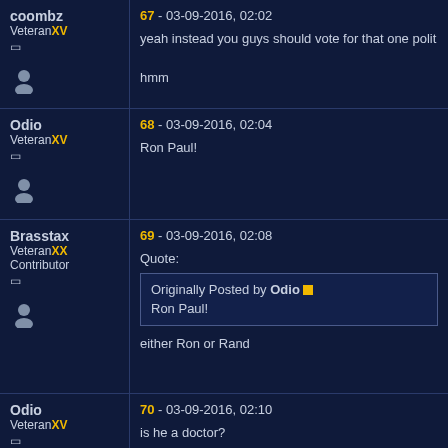coombz VeteranXV - 67 - 03-09-2016, 02:02 - yeah instead you guys should vote for that one polit hmm
Odio VeteranXV - 68 - 03-09-2016, 02:04 - Ron Paul!
Brasstax VeteranXX Contributor - 69 - 03-09-2016, 02:08 - Quote: Originally Posted by Odio Ron Paul! - either Ron or Rand
Odio VeteranXV - 70 - 03-09-2016, 02:10 - is he a doctor?